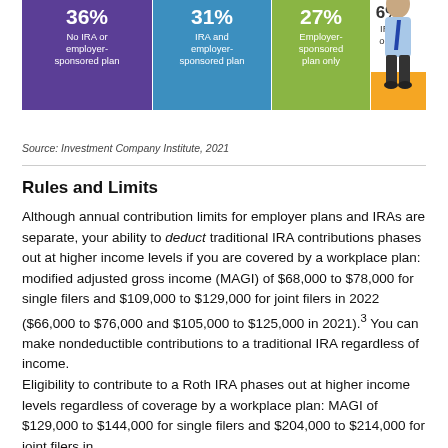[Figure (infographic): Horizontal bar infographic showing retirement plan coverage: 36% No IRA or employer-sponsored plan (purple), 31% IRA and employer-sponsored plan (blue), 27% Employer-sponsored plan only (green), 6% IRA only (orange), with an illustration of a businessperson.]
Source: Investment Company Institute, 2021
Rules and Limits
Although annual contribution limits for employer plans and IRAs are separate, your ability to deduct traditional IRA contributions phases out at higher income levels if you are covered by a workplace plan: modified adjusted gross income (MAGI) of $68,000 to $78,000 for single filers and $109,000 to $129,000 for joint filers in 2022 ($66,000 to $76,000 and $105,000 to $125,000 in 2021).³ You can make nondeductible contributions to a traditional IRA regardless of income.
Eligibility to contribute to a Roth IRA phases out at higher income levels regardless of coverage by a workplace plan: MAGI of $129,000 to $144,000 for single filers and $204,000 to $214,000 for joint filers in